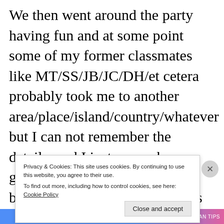We then went around the party having fun and at some point some of my former classmates like MT/SS/JB/JC/DH/et cetera probably took me to another area/place/island/country/whatever but I can not remember the details, and I just remember us going outside probably across a bridge to a small island that was like its own country/tourist attraction that seemed to be like a … s…
Privacy & Cookies: This site uses cookies. By continuing to use this website, you agree to their use.
To find out more, including how to control cookies, see here: Cookie Policy
Close and accept